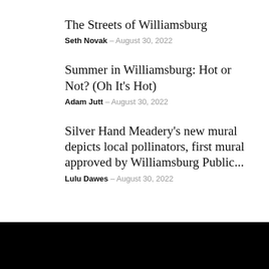The Streets of Williamsburg
Seth Novak – August 30, 2022
Summer in Williamsburg: Hot or Not? (Oh It's Hot)
Adam Jutt – August 30, 2022
Silver Hand Meadery's new mural depicts local pollinators, first mural approved by Williamsburg Public...
Lulu Dawes – August 30, 2022